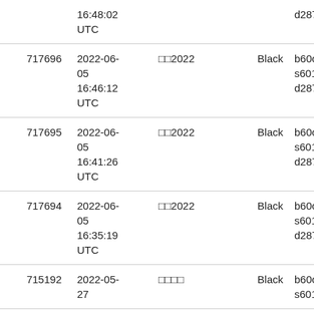|  | 16:48:02 UTC |  |  | d28... |
| 717696 | 2022-06-05
16:46:12 UTC | □□2022 | Black | b60...
s601...
d287... |
| 717695 | 2022-06-05
16:41:26 UTC | □□2022 | Black | b60...
s601...
d287... |
| 717694 | 2022-06-05
16:35:19 UTC | □□2022 | Black | b60...
s601...
d287... |
| 715192 | 2022-05-27 | □□□□ | Black | b60...
s601... |